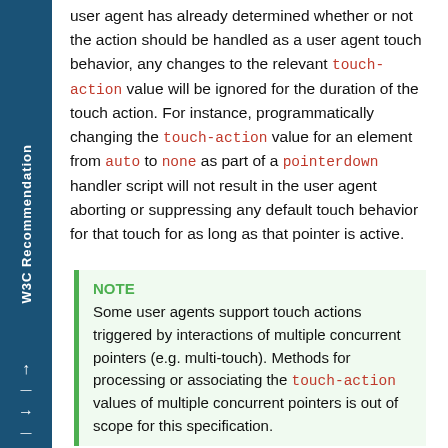user agent has already determined whether or not the action should be handled as a user agent touch behavior, any changes to the relevant touch-action value will be ignored for the duration of the touch action. For instance, programmatically changing the touch-action value for an element from auto to none as part of a pointerdown handler script will not result in the user agent aborting or suppressing any default touch behavior for that touch for as long as that pointer is active.
NOTE
Some user agents support touch actions triggered by interactions of multiple concurrent pointers (e.g. multi-touch). Methods for processing or associating the touch-action values of multiple concurrent pointers is out of scope for this specification.